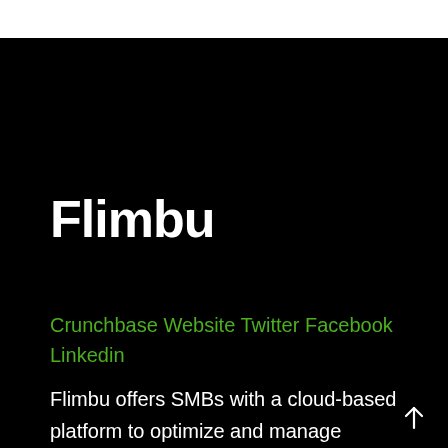Flimbu
Crunchbase Website Twitter Facebook Linkedin
Flimbu offers SMBs with a cloud-based platform to optimize and manage campaigns on Google, Facebook, Yahoo, Bing, and more.